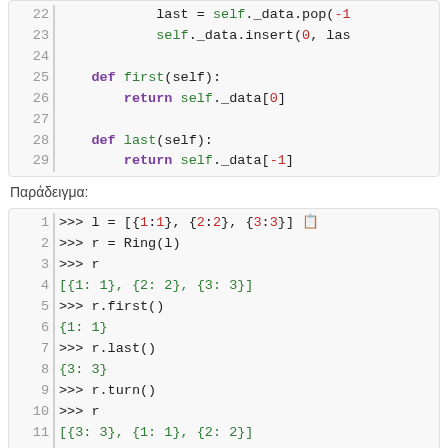[Figure (screenshot): Python code block showing lines 22-29: last = self._data.pop(-1), self._data.insert(0, las, blank line, def first(self): return self._data[0], blank line, def last(self): return self._data[-1]]
Παράδειγμα:
[Figure (screenshot): Python interactive session lines 1-14: l = [{1:1},{2:2},{3:3}], r = Ring(l), r, [{1: 1}, {2: 2}, {3: 3}], r.first(), {1: 1}, r.last(), {3: 3}, r.turn(), r, [{3: 3}, {1: 1}, {2: 2}], r.turn(), r, [{2: 2}, {3: 3}, {1: 1}]]